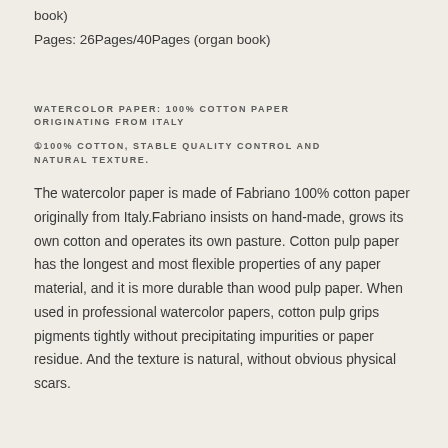book)
Pages: 26Pages/40Pages (organ book)
WATERCOLOR PAPER: 100% COTTON PAPER ORIGINATING FROM ITALY
①100% COTTON, STABLE QUALITY CONTROL AND NATURAL TEXTURE.
The watercolor paper is made of Fabriano 100% cotton paper originally from Italy.Fabriano insists on hand-made, grows its own cotton and operates its own pasture. Cotton pulp paper has the longest and most flexible properties of any paper material, and it is more durable than wood pulp paper. When used in professional watercolor papers, cotton pulp grips pigments tightly without precipitating impurities or paper residue. And the texture is natural, without obvious physical scars.